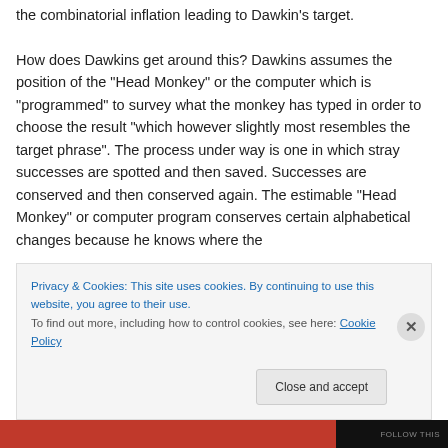the combinatorial inflation leading to Dawkin's target. How does Dawkins get around this? Dawkins assumes the position of the "Head Monkey" or the computer which is "programmed" to survey what the monkey has typed in order to choose the result "which however slightly most resembles the target phrase". The process under way is one in which stray successes are spotted and then saved. Successes are conserved and then conserved again. The estimable "Head Monkey" or computer program conserves certain alphabetical changes because he knows where the
Privacy & Cookies: This site uses cookies. By continuing to use this website, you agree to their use. To find out more, including how to control cookies, see here: Cookie Policy